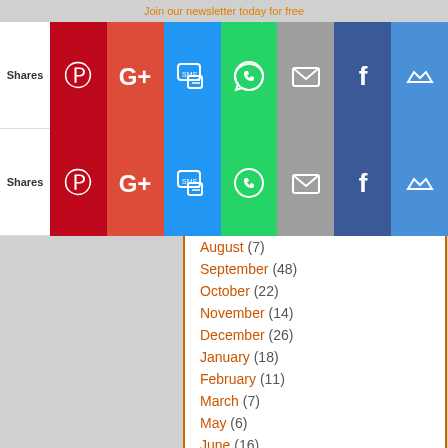Join our newsletter today for free
[Figure (screenshot): Social share bar row 1 with Shares label and icons: Pinterest, Google+, SMS, WhatsApp, Email, Facebook, Crown]
[Figure (screenshot): Social share bar row 2 with Shares label and icons: Pinterest, Google+, SMS, WhatsApp, Email, Facebook, Crown]
August (7)
September (48)
October (22)
November (14)
December (26)
January (18)
February (11)
March (7)
May (6)
June (16)
July (12)
August (8)
October (5)
November (4)